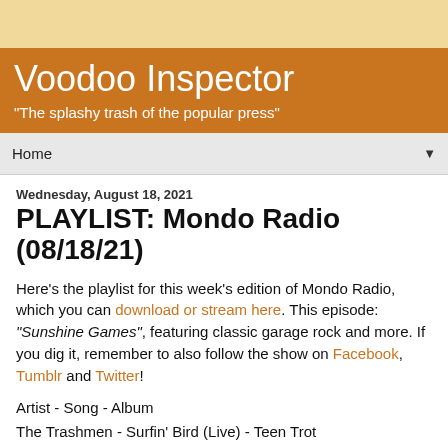Voodoo Inspector
"The splashy trash of the popular press"
Home
Wednesday, August 18, 2021
PLAYLIST: Mondo Radio (08/18/21)
Here’s the playlist for this week’s edition of Mondo Radio, which you can download or stream here. This episode: “Sunshine Games”, featuring classic garage rock and more. If you dig it, remember to also follow the show on Facebook, Tumblr and Twitter!
Artist - Song - Album
The Trashmen - Surfin’ Bird (Live) - Teen Trot
The Trashmen - Walkin’ The Dog (Live) - Teen Trot
Sam The Sham And The Pharaohs - Wooly Bully - The MGM